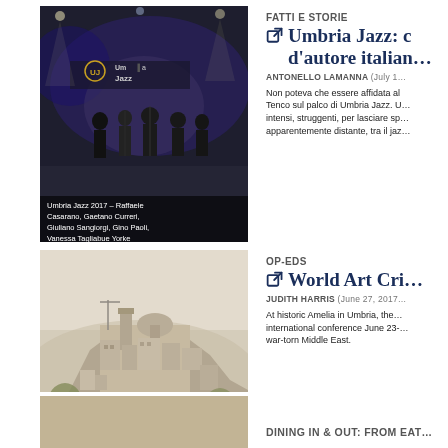[Figure (photo): Concert photo from Umbria Jazz 2017 showing musicians on a dimly-lit stage with blue/purple lighting and a banner reading Umbria Jazz]
Umbria Jazz 2017 – Raffaele Casarano, Gaetano Curreri, Giuliano Sangiorgi, Gino Paoli, Vanessa Tagliabue Yorke
FATTI E STORIE
Umbria Jazz: d'autore italian…
ANTONELLO LAMANNA (July 1…
Non poteva che essere affidata al… Tenco sul palco di Umbria Jazz. U… intensi, struggenti, per lasciare sp… apparentemente distante, tra il jaz…
[Figure (photo): Aerial/hillside photograph of a historic Italian hilltop town (Amelia in Umbria), showing ancient stone buildings and a cathedral on a hilltop surrounded by trees]
OP-EDS
World Art Cri…
JUDITH HARRIS (June 27, 2017…
At historic Amelia in Umbria, the… international conference June 23-… war-torn Middle East.
[Figure (photo): Partial view of a third article image at the bottom]
DINING IN & OUT: FROM EAT…